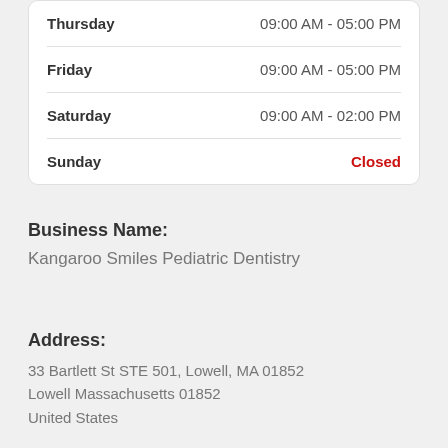| Day | Hours |
| --- | --- |
| Thursday | 09:00 AM - 05:00 PM |
| Friday | 09:00 AM - 05:00 PM |
| Saturday | 09:00 AM - 02:00 PM |
| Sunday | Closed |
Business Name:
Kangaroo Smiles Pediatric Dentistry
Address:
33 Bartlett St STE 501, Lowell, MA 01852
Lowell Massachusetts 01852
United States